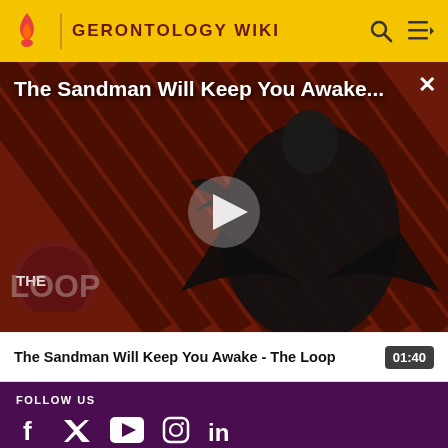GERONTOLOGY WIKI
[Figure (screenshot): Video thumbnail showing a dark-cloaked figure against a red diagonal striped background with The Loop branding logo, play button overlay, title overlay 'The Sandman Will Keep You Awake...']
The Sandman Will Keep You Awake - The Loop
01:40
FOLLOW US
[Figure (other): Social media icons: Facebook, Twitter, YouTube, Instagram, LinkedIn]